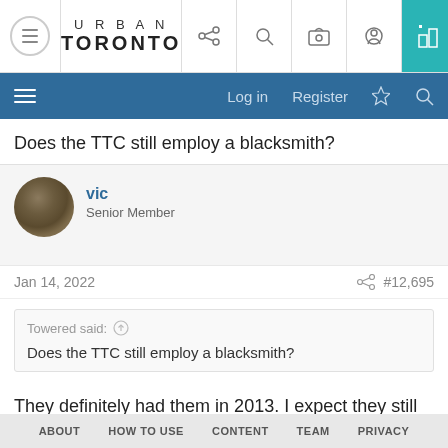URBAN TORONTO
Does the TTC still employ a blacksmith?
vic
Senior Member
Jan 14, 2022  #12,695
Towered said: ↑
Does the TTC still employ a blacksmith?
They definitely had them in 2013. I expect they still do?
[Figure (photo): Industrial/transit infrastructure photo, partially visible]
ABOUT  HOW TO USE  CONTENT  TEAM  PRIVACY